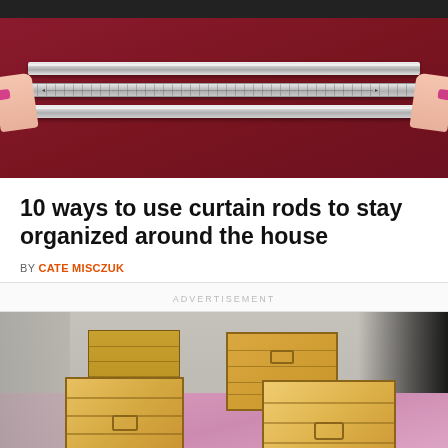[Figure (photo): Hands holding silver curtain rods on a dark red/burgundy background]
10 ways to use curtain rods to stay organized around the house
BY CATE MISCZUK
ADVERTISEMENT
[Figure (photo): Several light wood crates arranged on a pink cloth on a concrete surface outdoors, with caster wheels and tools visible]